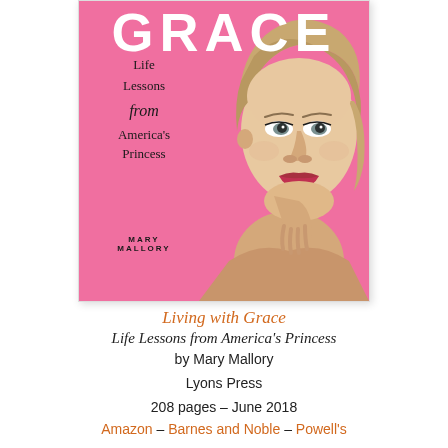[Figure (photo): Book cover of 'Grace: Life Lessons from America's Princess' by Mary Mallory. Hot pink background with a close-up portrait of Grace Kelly resting her chin on her hand. The word GRACE appears in large white letters at the top. Text on the left reads 'Life Lessons from America's Princess' and 'MARY MALLORY' at the bottom.]
Living with Grace
Life Lessons from America's Princess
by Mary Mallory
Lyons Press
208 pages – June 2018
Amazon – Barnes and Noble – Powell's